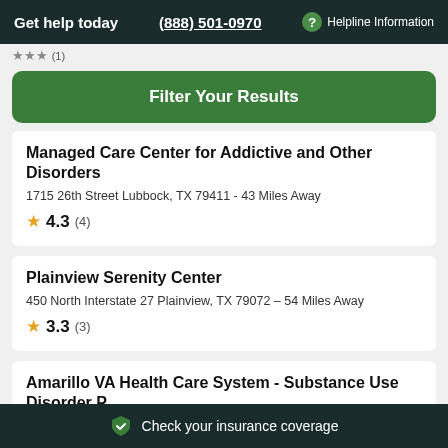Get help today  (888) 501-0970  Helpline Information
Filter Your Results
Managed Care Center for Addictive and Other Disorders
1715 26th Street Lubbock, TX 79411 - 43 Miles Away
★ 4.3 (4)
Plainview Serenity Center
450 North Interstate 27 Plainview, TX 79072 - 54 Miles Away
★ 3.3 (3)
Amarillo VA Health Care System - Substance Use Disorder P…
Check your insurance coverage